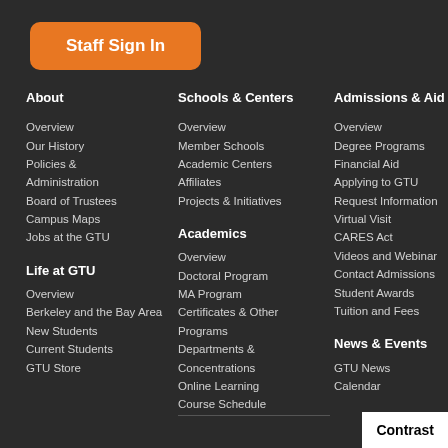Staff Sign In
About
Overview
Our History
Policies & Administration
Board of Trustees
Campus Maps
Jobs at the GTU
Life at GTU
Overview
Berkeley and the Bay Area
New Students
Current Students
GTU Store
Schools & Centers
Overview
Member Schools
Academic Centers
Affiliates
Projects & Initiatives
Academics
Overview
Doctoral Program
MA Program
Certificates & Other Programs
Departments & Concentrations
Online Learning
Course Schedule
Admissions & Aid
Overview
Degree Programs
Financial Aid
Applying to GTU
Request Information
Virtual Visit
CARES Act
Videos and Webinar
Contact Admissions
Student Awards
Tuition and Fees
News & Events
GTU News
Calendar
Contrast